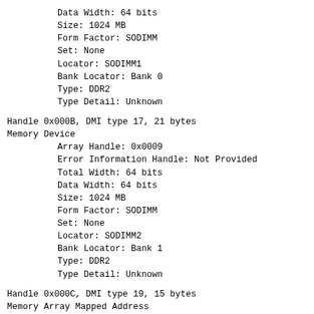Data Width: 64 bits
Size: 1024 MB
Form Factor: SODIMM
Set: None
Locator: SODIMM1
Bank Locator: Bank 0
Type: DDR2
Type Detail: Unknown
Handle 0x000B, DMI type 17, 21 bytes
Memory Device
        Array Handle: 0x0009
        Error Information Handle: Not Provided
        Total Width: 64 bits
        Data Width: 64 bits
        Size: 1024 MB
        Form Factor: SODIMM
        Set: None
        Locator: SODIMM2
        Bank Locator: Bank 1
        Type: DDR2
        Type Detail: Unknown
Handle 0x000C, DMI type 19, 15 bytes
Memory Array Mapped Address
        Starting Address: 0x00000000000
        Ending Address: 0x0007FFFFFFF
        Range Size: 2 GB
        Physical Array Handle: 0x0009
        Partition Width: 0